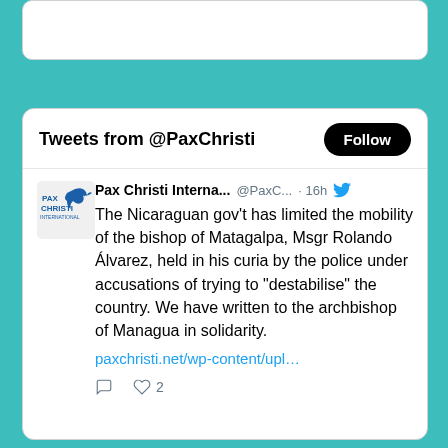[Figure (screenshot): Partial top card from Twitter widget, cropped at top]
[Figure (screenshot): Twitter widget card showing tweets from @PaxChristi with a Follow button and a tweet from Pax Christi International about the Nicaraguan bishop of Matagalpa, Msgr Rolando Álvarez, and a link to paxchristi.net/wp-content/upl...]
Tweets from @PaxChristi
Pax Christi Interna... @PaxC... · 16h
The Nicaraguan gov't has limited the mobility of the bishop of Matagalpa, Msgr Rolando Álvarez, held in his curia by the police under accusations of trying to "destabilise" the country. We have written to the archbishop of Managua in solidarity.
paxchristi.net/wp-content/upl…